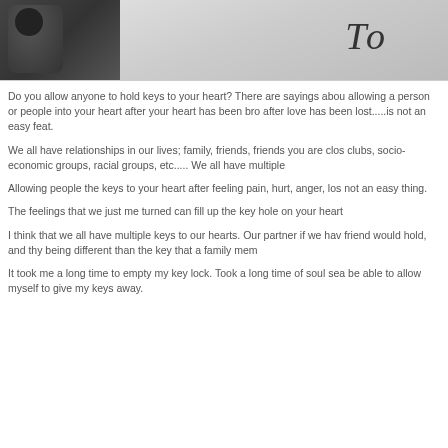[Figure (photo): Black and white photo showing what appears to be a stuffed animal or toy on the left and handwritten text 'To' on paper on the right]
Do you allow anyone to hold keys to your heart? There are sayings about allowing a person or people into your heart after your heart has been bro... after love has been lost.....is not an easy feat.
We all have relationships in our lives; family, friends, friends you are clos... clubs, socio-economic groups, racial groups, etc..... We all have multiple
Allowing people the keys to your heart after feeling pain, hurt, anger, los... not an easy thing.
The feelings that we just me turned can fill up the key hole on your heart
I think that we all have multiple keys to our hearts. Our partner if we hav... friend would hold, and thy being different than the key that a family mem...
It took me a long time to empty my key lock. Took a long time of soul sea... be able to allow myself to give my keys away.